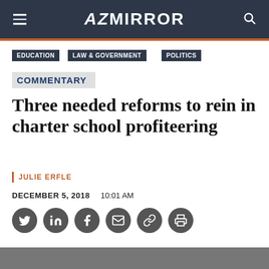AZ MIRROR
EDUCATION
LAW & GOVERNMENT
POLITICS
COMMENTARY
Three needed reforms to rein in charter school profiteering
JULIE ERFLE
DECEMBER 5, 2018   10:01 AM
[Figure (infographic): Row of social sharing icons: Twitter, LinkedIn, Facebook, Email, Link/Copy, Print]